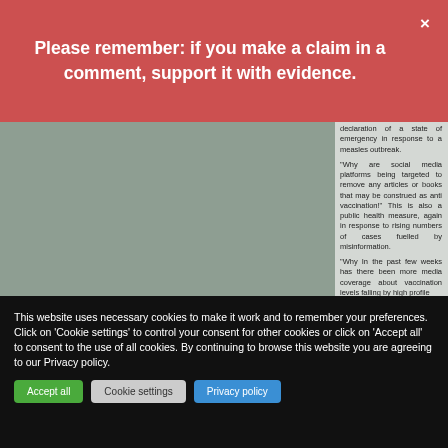Please remember: if you make a claim in a comment, support it with evidence.
declaration of a state of emergency in response to a measles outbreak.
"Why are social media platforms being targeted to remove any articles or books that may be construed as anti vaccination!" This is also a public health measure, again in response to rising numbers of cases fuelled by misinformation.
"Why In the past few weeks has there been more media coverage about vaccination levels falling by high profile
This website uses necessary cookies to make it work and to remember your preferences. Click on 'Cookie settings' to control your consent for other cookies or click on 'Accept all' to consent to the use of all cookies. By continuing to browse this website you are agreeing to our Privacy policy.